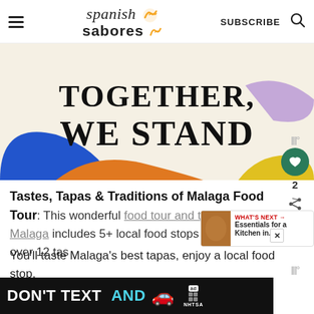Spanish Sabores — SUBSCRIBE
[Figure (illustration): Colorful graphic with bold serif text 'TOGETHER, WE STAND' on a cream background, with abstract shapes in blue, orange, yellow, and purple.]
Tastes, Tapas & Traditions of Malaga Food Tour
This wonderful food tour and tapas tour in Malaga includes 5+ local food stops and offers over 12 tastings. You'll taste Malaga's best tapas, enjoy a local food stop.
[Figure (infographic): What's Next box: thumbnail image of food/kitchen scene with text 'WHAT'S NEXT → Essentials for a Kitchen in...']
[Figure (screenshot): Ad banner at bottom: black background, 'DON'T TEXT AND' in white/cyan bold text, red car emoji, ad badge and NHTSA logo. Close button X.]